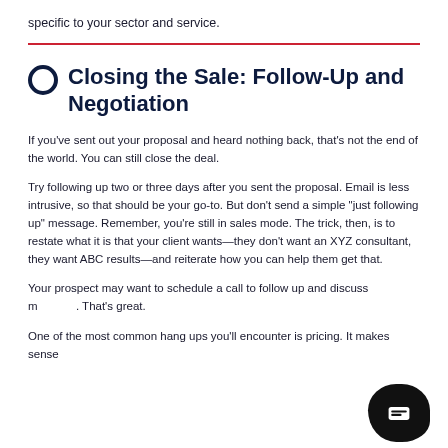specific to your sector and service.
Closing the Sale: Follow-Up and Negotiation
If you've sent out your proposal and heard nothing back, that's not the end of the world. You can still close the deal.
Try following up two or three days after you sent the proposal. Email is less intrusive, so that should be your go-to. But don't send a simple "just following up" message. Remember, you're still in sales mode. The trick, then, is to restate what it is that your client wants—they don't want an XYZ consultant, they want ABC results—and reiterate how you can help them get that.
Your prospect may want to schedule a call to follow up and discuss more. That's great.
One of the most common hang ups you'll encounter is pricing. It makes sense